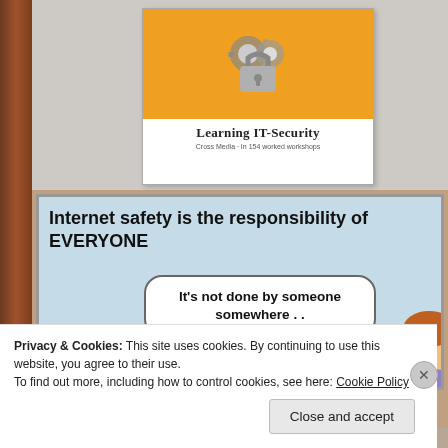[Figure (illustration): Book thumbnail for 'Learning IT-Security' with orange top cover and lock/gears icon]
[Figure (illustration): Comic panel with light blue background. Top text reads 'Internet safety is the responsibility of EVERYONE'. Speech bubble says 'It's not done by someone somewhere ..' with cartoon characters and clouds at bottom.]
Privacy & Cookies: This site uses cookies. By continuing to use this website, you agree to their use.
To find out more, including how to control cookies, see here: Cookie Policy
Close and accept